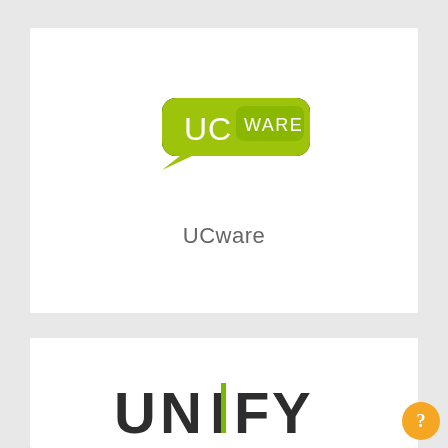[Figure (logo): UCware logo: green rounded speech-bubble shape containing 'UC' in white and 'WARE' in white text on a yellow-green background]
UCware
[Figure (logo): Unify logo: bold dark text 'UNIFY' with a green vertical bar accent between the 'I' letters]